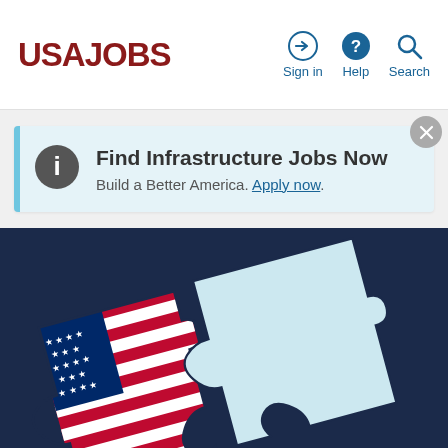USAJOBS — Sign in | Help | Search
Find Infrastructure Jobs Now
Build a Better America. Apply now.
[Figure (illustration): Two interlocking puzzle pieces on a dark navy background. The left puzzle piece is decorated with the American flag (stars and stripes). The right puzzle piece is light blue/white. The pieces are partially fitted together.]